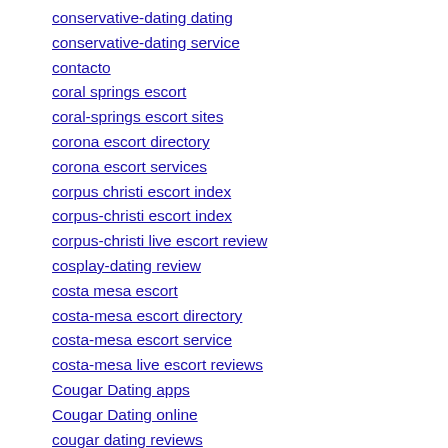conservative-dating dating
conservative-dating service
contacto
coral springs escort
coral-springs escort sites
corona escort directory
corona escort services
corpus christi escort index
corpus-christi escort index
corpus-christi live escort review
cosplay-dating review
costa mesa escort
costa-mesa escort directory
costa-mesa escort service
costa-mesa live escort reviews
Cougar Dating apps
Cougar Dating online
cougar dating reviews
cougar life dating